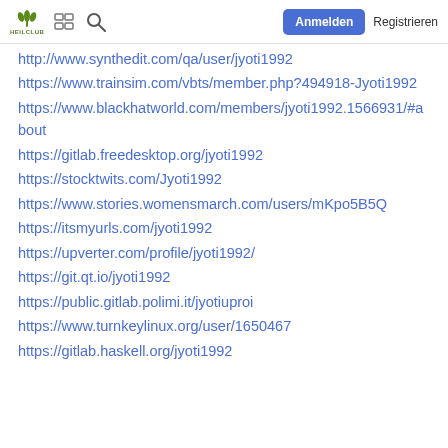HEILCLUB | [grid icon] | [search icon] | Anmelden | Registrieren
http://www.synthedit.com/qa/user/jyoti1992
https://www.trainsim.com/vbts/member.php?494918-Jyoti1992
https://www.blackhatworld.com/members/jyoti1992.1566931/#about
https://gitlab.freedesktop.org/jyoti1992
https://stocktwits.com/Jyoti1992
https://www.stories.womensmarch.com/users/mKpo5B5Q
https://itsmyurls.com/jyoti1992
https://upverter.com/profile/jyoti1992/
https://git.qt.io/jyoti1992
https://public.gitlab.polimi.it/jyotiuproi
https://www.turnkeylinux.org/user/1650467
https://gitlab.haskell.org/jyoti1992